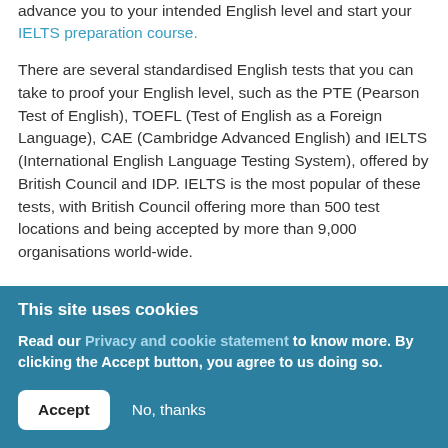advance you to your intended English level and start your IELTS preparation course.
There are several standardised English tests that you can take to proof your English level, such as the PTE (Pearson Test of English), TOEFL (Test of English as a Foreign Language), CAE (Cambridge Advanced English) and IELTS (International English Language Testing System), offered by British Council and IDP. IELTS is the most popular of these tests, with British Council offering more than 500 test locations and being accepted by more than 9,000 organisations world-wide.
This site uses cookies
Read our Privacy and cookie statement to know more. By clicking the Accept button, you agree to us doing so.
Accept
No, thanks